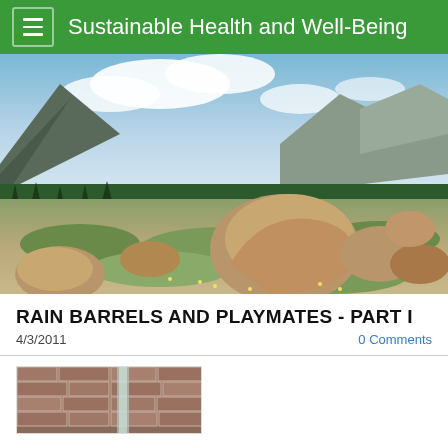Sustainable Health and Well-Being
[Figure (photo): Mountain landscape with large boulders on a grassy hillside, evergreen forest below, mountains and clouds in background]
RAIN BARRELS AND PLAYMATES - PART I
4/3/2011
0 Comments
[Figure (photo): Partial view of a brick building with what appears to be a rain barrel or downspout installation]